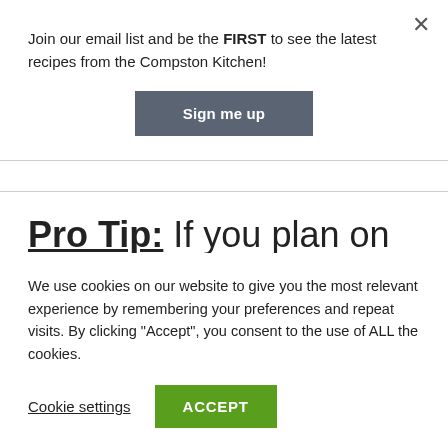Join our email list and be the FIRST to see the latest recipes from the Compston Kitchen!
Sign me up
Pro Tip: If you plan on making your pudding for the week ahead, we
We use cookies on our website to give you the most relevant experience by remembering your preferences and repeat visits. By clicking “Accept”, you consent to the use of ALL the cookies.
Cookie settings
ACCEPT